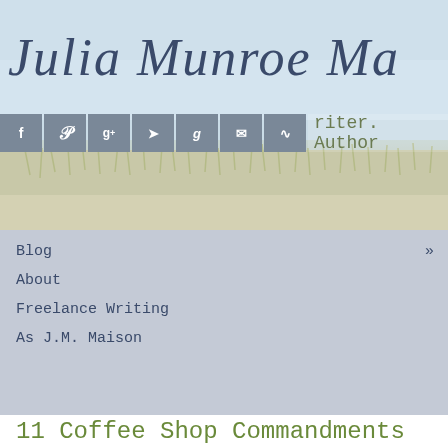Julia Munroe Ma[rtin]
[Figure (screenshot): Social media icon bar with Facebook, Pinterest, Google+, Twitter, Goodreads, Email, RSS icons in grey squares, followed by text 'riter. Author']
[Figure (illustration): Coastal landscape background with sea grass and water, light blue and tan tones]
Blog »
About
Freelance Writing
As J.M. Maison
11 Coffee Shop Commandments
August 25, 2014